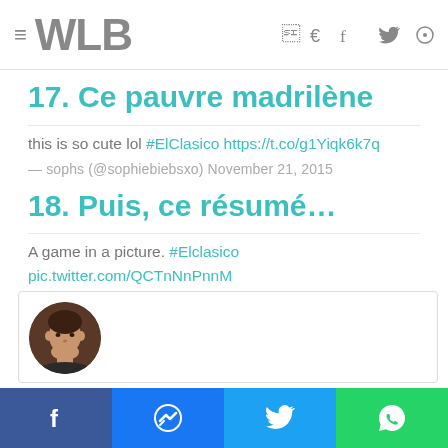WLB
17. Ce pauvre madrilène
this is so cute lol #ElClasico https://t.co/g1Yiqk6k7q
— sophs (@sophiebiebsxo) November 21, 2015
18. Puis, ce résumé…
A game in a picture. #Elclasico pic.twitter.com/QCTnNnPnnM
— Joe Barden (@Barden93) November 21, 2015
[Figure (photo): Embedded tweet card with circular avatar photo of a person]